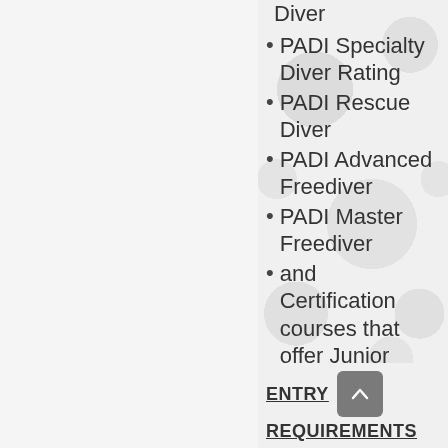PADI Specialty Diver Rating
PADI Rescue Diver
PADI Advanced Freediver
PADI Master Freediver
and Certification courses that offer Junior ratings also apply.
ENTRY REQUIREMENTS